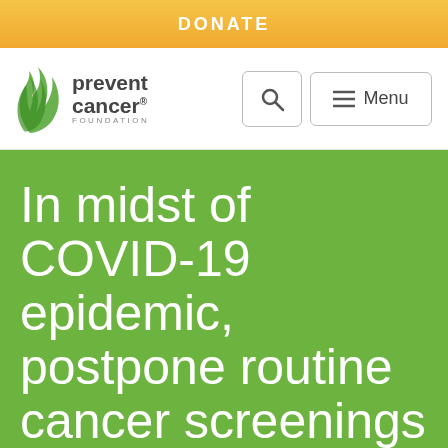DONATE
[Figure (logo): Prevent Cancer Foundation logo with green flame/leaf icon and text 'prevent cancer FOUNDATION']
In midst of COVID-19 epidemic, postpone routine cancer screenings
April 2, 2020